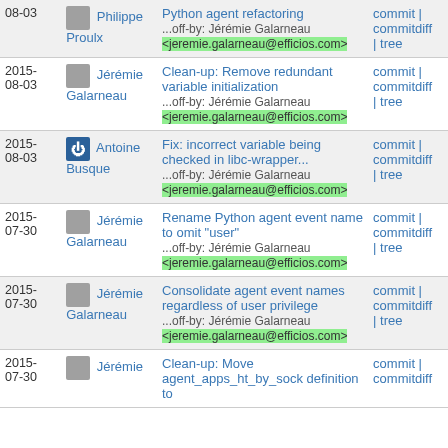| Date | Author | Message | Links |
| --- | --- | --- | --- |
| 2015-08-03 | Philippe Proulx | Python agent refactoring
...off-by: Jérémie Galarneau <jeremie.galarneau@efficios.com> | commit | commitdiff | tree |
| 2015-08-03 | Jérémie Galarneau | Clean-up: Remove redundant variable initialization
...off-by: Jérémie Galarneau <jeremie.galarneau@efficios.com> | commit | commitdiff | tree |
| 2015-08-03 | Antoine Busque | Fix: incorrect variable being checked in libc-wrapper...
...off-by: Jérémie Galarneau <jeremie.galarneau@efficios.com> | commit | commitdiff | tree |
| 2015-07-30 | Jérémie Galarneau | Rename Python agent event name to omit "user"
...off-by: Jérémie Galarneau <jeremie.galarneau@efficios.com> | commit | commitdiff | tree |
| 2015-07-30 | Jérémie Galarneau | Consolidate agent event names regardless of user privilege
...off-by: Jérémie Galarneau <jeremie.galarneau@efficios.com> | commit | commitdiff | tree |
| 2015-07-30 | Jérémie Galarneau | Clean-up: Move agent_apps_ht_by_sock definition to... | commit | commitdiff |